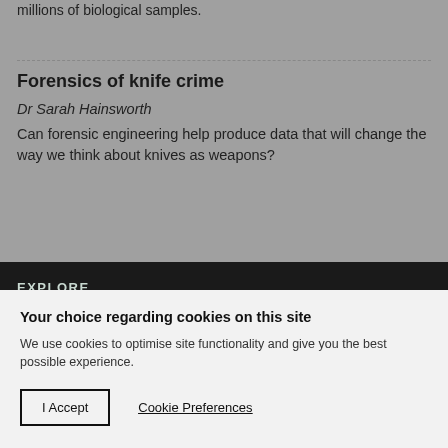millions of biological samples.
Forensics of knife crime
Dr Sarah Hainsworth
Can forensic engineering help produce data that will change the way we think about knives as weapons?
EXPLORE
About us
Your choice regarding cookies on this site
We use cookies to optimise site functionality and give you the best possible experience.
I Accept
Cookie Preferences